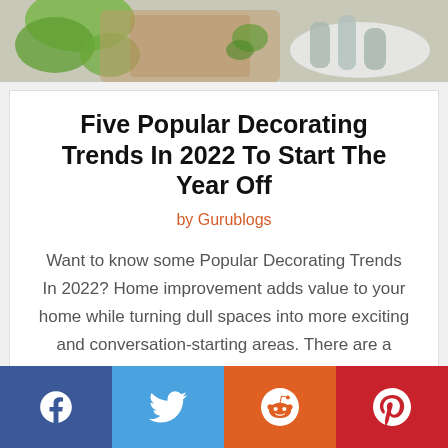[Figure (photo): Top partial photo showing green leaves, wooden items, and a white ceramic tray with small vases — decorating/lifestyle image]
Five Popular Decorating Trends In 2022 To Start The Year Off
by Gurublogs
Want to know some Popular Decorating Trends In 2022? Home improvement adds value to your home while turning dull spaces into more exciting and conversation-starting areas. There are a number of reasons why you would want to improve your home.  To sell the home:...
[Figure (infographic): Social sharing bar with Facebook, Twitter, Reddit, and Pinterest buttons]